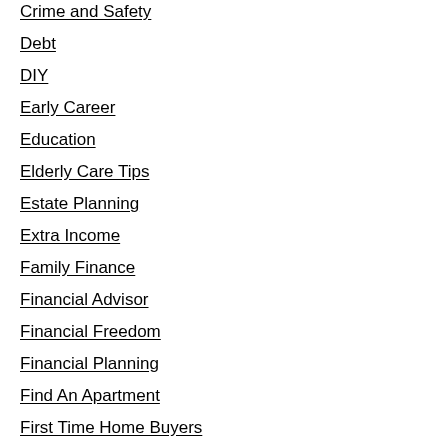Crime and Safety
Debt
DIY
Early Career
Education
Elderly Care Tips
Estate Planning
Extra Income
Family Finance
Financial Advisor
Financial Freedom
Financial Planning
Find An Apartment
First Time Home Buyers